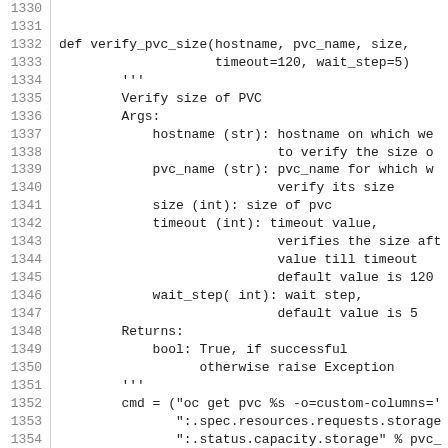[Figure (screenshot): Source code listing showing Python function verify_pvc_size with line numbers 1330-1360, displayed in monospace font with line number gutter.]